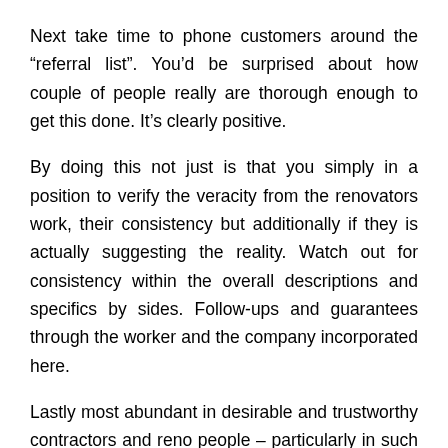Next take time to phone customers around the “referral list”. You’d be surprised about how couple of people really are thorough enough to get this done. It’s clearly positive.
By doing this not just is that you simply in a position to verify the veracity from the renovators work, their consistency but additionally if they is actually suggesting the reality. Watch out for consistency within the overall descriptions and specifics by sides. Follow-ups and guarantees through the worker and the company incorporated here.
Lastly most abundant in desirable and trustworthy contractors and reno people – particularly in such useful areas as bathroom and kitchen home renovations you might be around the receiving and